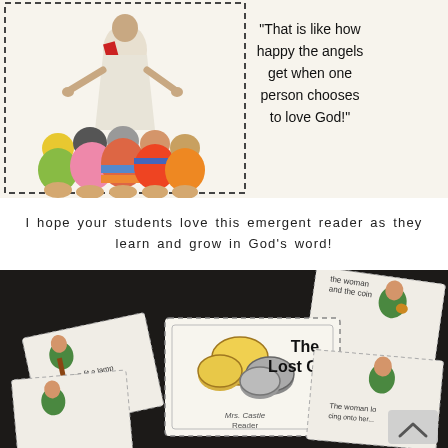[Figure (illustration): Illustrated scene showing children sitting at the feet of Jesus, with a quote panel on the right reading 'That is like how happy the angels get when one person chooses to love God!']
I hope your students love this emergent reader as they learn and grow in God's word!
[Figure (photo): Photo of printed emergent reader booklet pages spread out, showing 'The Lost Coin' book cover with coins illustration, and other pages featuring a woman in green garb. Text visible on pages includes 'The woman lit a lamp so that she could see', 'the woman and the coin', 'Mrs. Castle Reader', 'The woman lo...' and 'The Lost Coin'.]